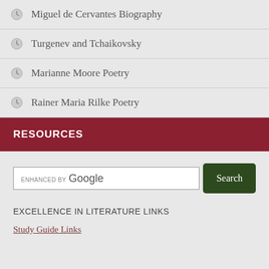Miguel de Cervantes Biography
Turgenev and Tchaikovsky
Marianne Moore Poetry
Rainer Maria Rilke Poetry
RESOURCES
[Figure (other): Google search box with 'enhanced by Google' label and a dark green Search button]
EXCELLENCE IN LITERATURE LINKS
Study Guide Links